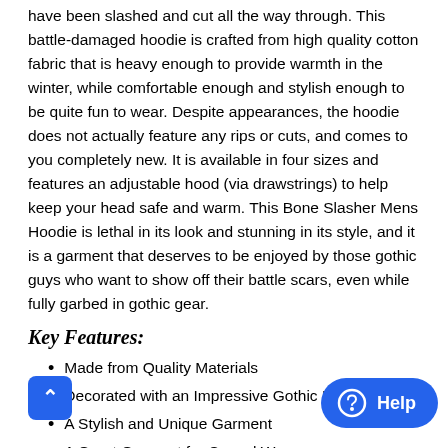have been slashed and cut all the way through. This battle-damaged hoodie is crafted from high quality cotton fabric that is heavy enough to provide warmth in the winter, while comfortable enough and stylish enough to be quite fun to wear. Despite appearances, the hoodie does not actually feature any rips or cuts, and comes to you completely new. It is available in four sizes and features an adjustable hood (via drawstrings) to help keep your head safe and warm. This Bone Slasher Mens Hoodie is lethal in its look and stunning in its style, and it is a garment that deserves to be enjoyed by those gothic guys who want to show off their battle scars, even while fully garbed in gothic gear.
Key Features:
Made from Quality Materials
Decorated with an Impressive Gothic Design
A Stylish and Unique Garment
A Great Garment for Casual Wear